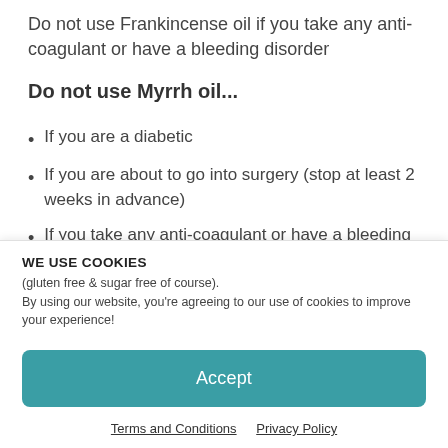Do not use Frankincense oil if you take any anti-coagulant or have a bleeding disorder
Do not use Myrrh oil...
If you are a diabetic
If you are about to go into surgery (stop at least 2 weeks in advance)
If you take any anti-coagulant or have a bleeding
WE USE COOKIES
(gluten free & sugar free of course).
By using our website, you're agreeing to our use of cookies to improve your experience!
Accept
Terms and Conditions   Privacy Policy